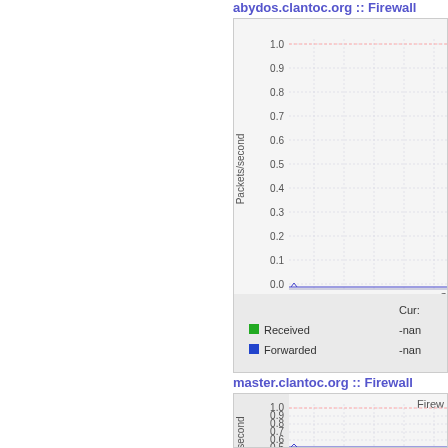abydos.clantoc.org :: Firewall
[Figure (continuous-plot): Firewall packets/second chart for abydos.clantoc.org showing y-axis from 0.0 to 1.0 with gridlines. Near-zero data. Legend shows Received (green) -nan and Forwarded (blue) -nan. Cur: -nan for both.]
master.clantoc.org :: Firewall
[Figure (continuous-plot): Firewall packets/second chart for master.clantoc.org showing partial view with y-axis labels 1.0, 0.9, 0.8, 0.7, 0.6, 0.5 visible. Near-zero data.]